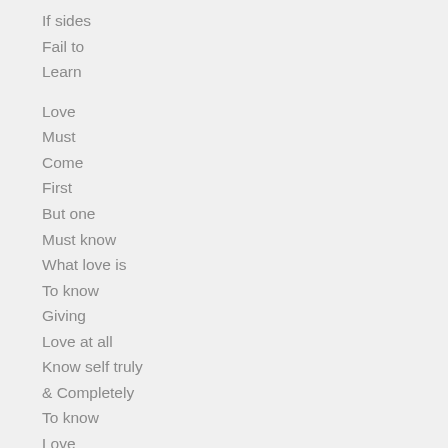If sides
Fail to
Learn

Love
Must
Come
First
But one
Must know
What love is
To know
Giving
Love at all
Know self truly
& Completely
To know
Love
It is a
Feeling
Emotional